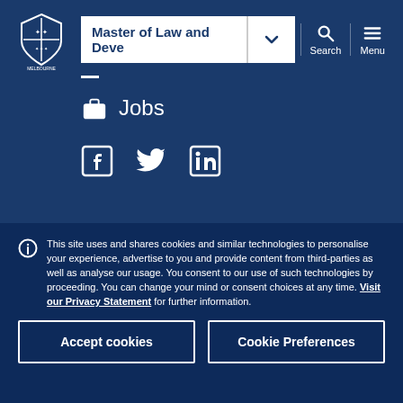Master of Law and Deve
Jobs
[Figure (other): Social media icons: Facebook, Twitter, LinkedIn]
This site uses and shares cookies and similar technologies to personalise your experience, advertise to you and provide content from third-parties as well as analyse our usage. You consent to our use of such technologies by proceeding. You can change your mind or consent choices at any time. Visit our Privacy Statement for further information.
Accept cookies
Cookie Preferences